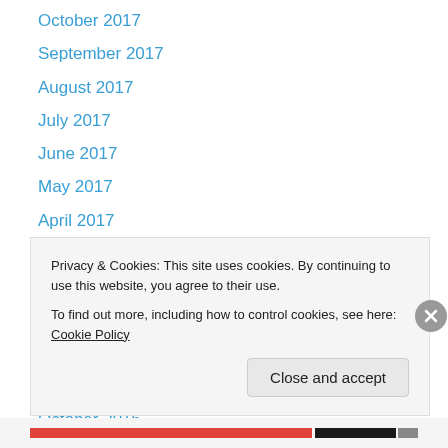October 2017
September 2017
August 2017
July 2017
June 2017
May 2017
April 2017
March 2017
February 2017
January 2017
December 2016
November 2016
October 2016
Privacy & Cookies: This site uses cookies. By continuing to use this website, you agree to their use.
To find out more, including how to control cookies, see here: Cookie Policy
Close and accept